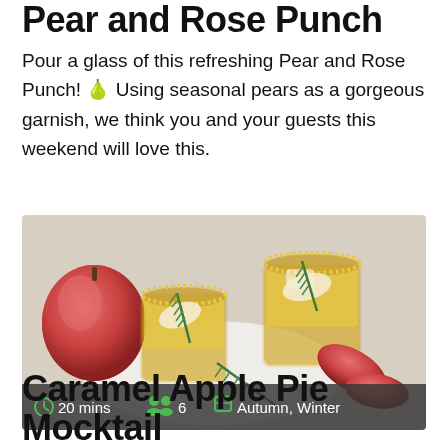Pear and Rose Punch
Pour a glass of this refreshing Pear and Rose Punch! 🍐 Using seasonal pears as a gorgeous garnish, we think you and your guests this weekend will love this.
[Figure (photo): Two gold-rimmed glasses filled with amber punch, garnished with apple slices and rosemary sprigs, on a white plate surrounded by red apples and apple slices. Bottom bar shows: 20 mins | 6 servings | Autumn, Winter]
Caramel Apple Pie Mocktail